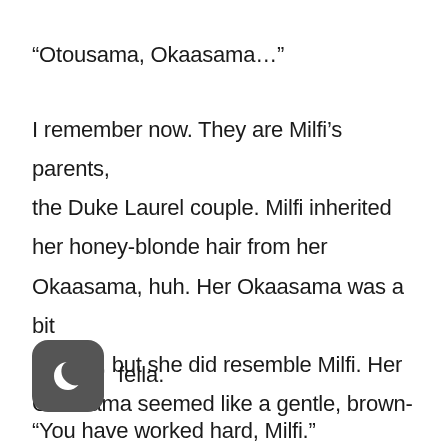“Otousama, Okaasama…”
I remember now. They are Milfi’s parents, the Duke Laurel couple. Milfi inherited her honey-blonde hair from her Okaasama, huh. Her Okaasama was a bit chubby, but she did resemble Milfi. Her Otousama seemed like a gentle, brown-[icon] fella.
“You have worked hard, Milfi.”